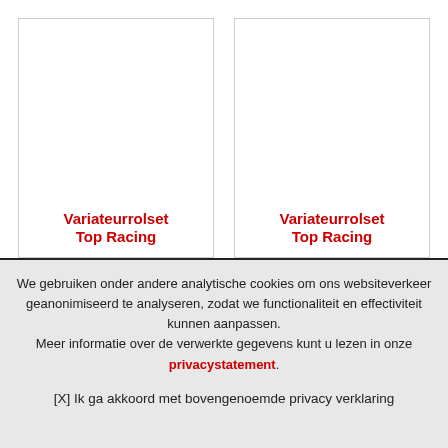[Figure (screenshot): Two product cards side by side, each bordered white rectangles with red bold text 'Variateurrolset Top Racing' at the bottom.]
We gebruiken onder andere analytische cookies om ons websiteverkeer geanonimiseerd te analyseren, zodat we functionaliteit en effectiviteit kunnen aanpassen. Meer informatie over de verwerkte gegevens kunt u lezen in onze privacystatement.
[X] Ik ga akkoord met bovengenoemde privacy verklaring